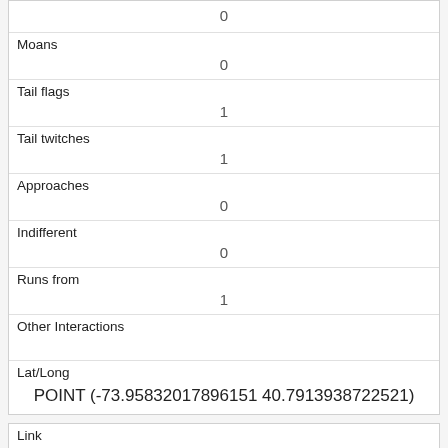| (continued) | 0 |
| Moans | 0 |
| Tail flags | 1 |
| Tail twitches | 1 |
| Approaches | 0 |
| Indifferent | 0 |
| Runs from | 1 |
| Other Interactions |  |
| Lat/Long | POINT (-73.95832017896151 40.7913938722521) |
| Link | 2206 |